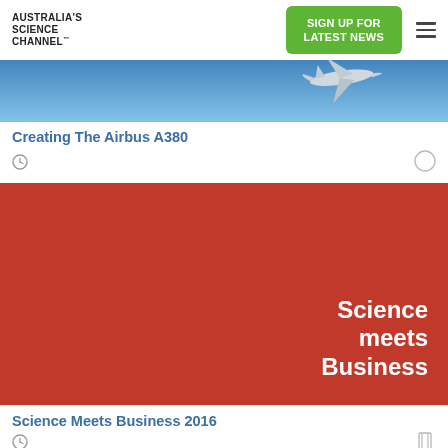[Figure (logo): Australia's Science Channel logo with trademark symbol]
SIGN UP FOR LATEST NEWS
[Figure (photo): Blue sky with Airbus A380 airplane in flight]
Creating The Airbus A380
[Figure (illustration): Red background with white bold text reading 'Science meets Business']
Science Meets Business 2016